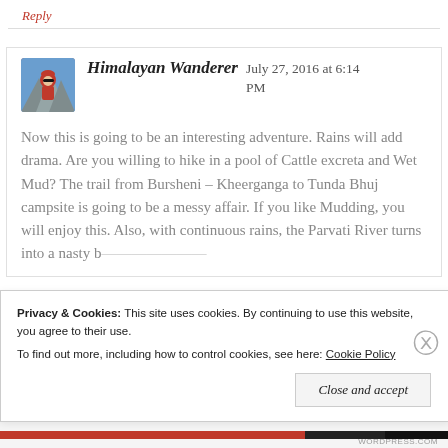Reply
Himalayan Wanderer   July 27, 2016 at 6:14 PM
Now this is going to be an interesting adventure. Rains will add drama. Are you willing to hike in a pool of Cattle excreta and Wet Mud? The trail from Bursheni – Kheerganga to Tunda Bhuj campsite is going to be a messy affair. If you like Mudding, you will enjoy this. Also, with continuous rains, the Parvati River turns into a nasty b...
Privacy & Cookies: This site uses cookies. By continuing to use this website, you agree to their use.
To find out more, including how to control cookies, see here: Cookie Policy
Close and accept